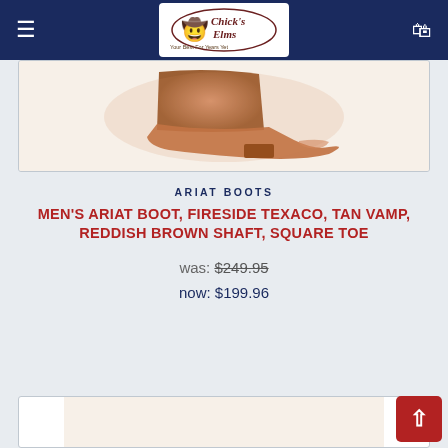[Figure (logo): Chick's Elms western wear store logo with cowboy figure]
[Figure (photo): Men's Ariat cowboy boot in tan/reddish brown, square toe, shown from side angle on white background]
ARIAT BOOTS
MEN'S ARIAT BOOT, FIRESIDE TEXACO, TAN VAMP, REDDISH BROWN SHAFT, SQUARE TOE
was: $249.95
now: $199.96
[Figure (photo): Partial view of another boot product at the bottom of the page]